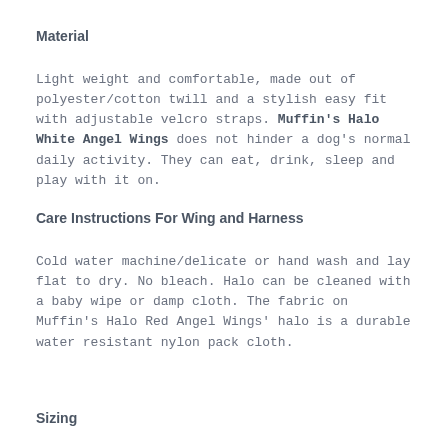Material
Light weight and comfortable, made out of polyester/cotton twill and a stylish easy fit with adjustable velcro straps. Muffin's Halo White Angel Wings does not hinder a dog's normal daily activity. They can eat, drink, sleep and play with it on.
Care Instructions For Wing and Harness
Cold water machine/delicate or hand wash and lay flat to dry. No bleach. Halo can be cleaned with a baby wipe or damp cloth. The fabric on Muffin's Halo Red Angel Wings' halo is a durable water resistant nylon pack cloth.
Sizing